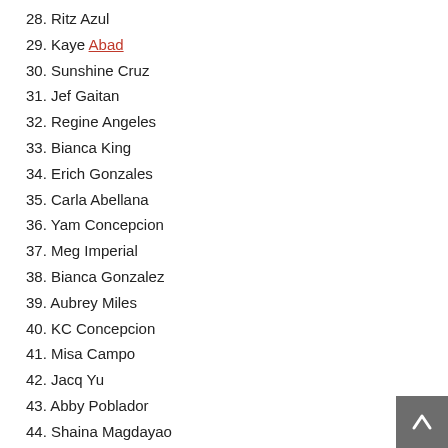28. Ritz Azul
29. Kaye Abad
30. Sunshine Cruz
31. Jef Gaitan
32. Regine Angeles
33. Bianca King
34. Erich Gonzales
35. Carla Abellana
36. Yam Concepcion
37. Meg Imperial
38. Bianca Gonzalez
39. Aubrey Miles
40. KC Concepcion
41. Misa Campo
42. Jacq Yu
43. Abby Poblador
44. Shaina Magdayao
45. Bubbles Paraiso
46. Ornusa Cadness
47. Bianca Manalo
48. Bea Alonzo
49. Andi Eigenmann
50. Georgina Wilson
51. Jahziel Manabat
52. Rod dela Cruz